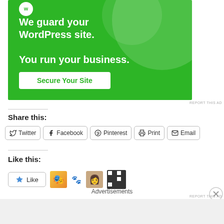[Figure (screenshot): Green advertisement banner reading 'We guard your WordPress site. You run your business.' with a 'Secure Your Site' button]
REPORT THIS AD
Share this:
Twitter  Facebook  Pinterest  Print  Email
Like this:
[Figure (screenshot): Like button with star icon and four avatar icons beside it]
Advertisements